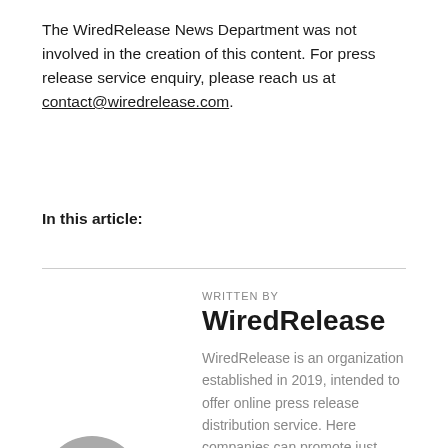The WiredRelease News Department was not involved in the creation of this content. For press release service enquiry, please reach us at contact@wiredrelease.com.
In this article:
WRITTEN BY
WiredRelease
WiredRelease is an organization established in 2019, intended to offer online press release distribution service. Here companies can promote just about anything regarding their business. In short, it is a one-stop business